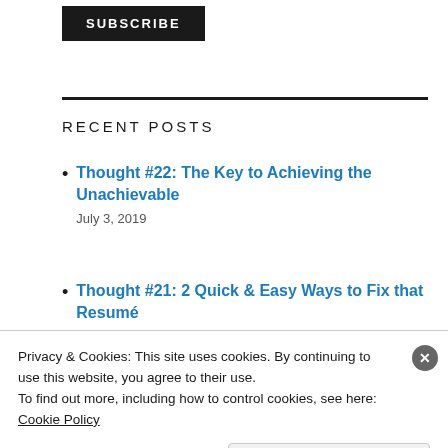[Figure (other): SUBSCRIBE button - black background with white bold text]
RECENT POSTS
Thought #22: The Key to Achieving the Unachievable
July 3, 2019
Thought #21: 2 Quick & Easy Ways to Fix that Resumé
Privacy & Cookies: This site uses cookies. By continuing to use this website, you agree to their use.
To find out more, including how to control cookies, see here: Cookie Policy
Close and accept